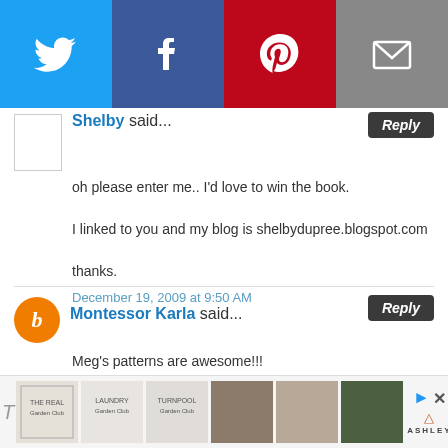[Figure (infographic): Social media share buttons: Twitter (blue), Facebook (dark blue), Pinterest (red), Email (grey)]
Shelby said...
oh please enter me.. I'd love to win the book.

I linked to you and my blog is shelbydupree.blogspot.com

thanks.
December 19, 2009 at 9:50 AM
Montessor Karla said...
Meg's patterns are awesome!!!
December 19, 2009 at 1:08 PM
[Figure (infographic): Advertisement bar at bottom with product images and Ashley furniture logo]